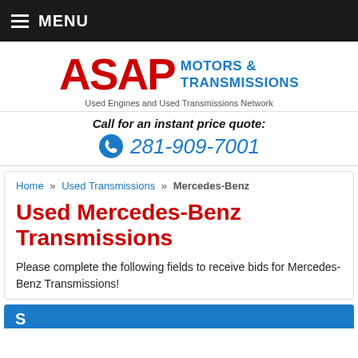MENU
[Figure (logo): ASAP Motors & Transmissions logo with red ASAP text and blue Motors & Transmissions text. Tagline: Used Engines and Used Transmissions Network]
Call for an instant price quote:
281-909-7001
Home » Used Transmissions » Mercedes-Benz
Used Mercedes-Benz Transmissions
Please complete the following fields to receive bids for Mercedes-Benz Transmissions!